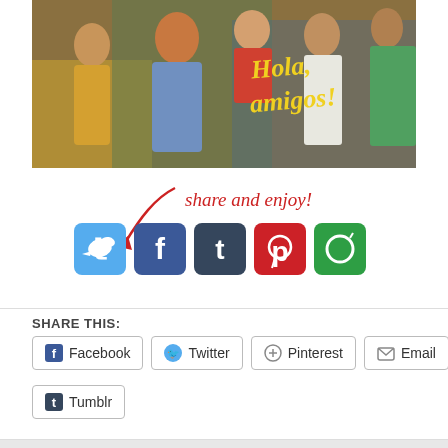[Figure (photo): Retro photo of a group of teenagers/young people posing together, appearing to be from a TV show or album cover, with stylized yellow cursive text reading 'Hola amigos!' overlaid on the right side]
[Figure (infographic): Social media sharing section with cursive red text 'share and enjoy!' with a curving arrow pointing to a row of social media icon buttons: Twitter (blue bird), Facebook (blue f), Tumblr (dark t), Pinterest (red p), and a green icon]
SHARE THIS:
Facebook
Twitter
Pinterest
Email
Tumblr